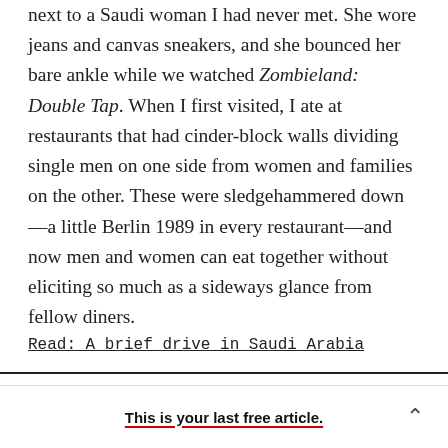next to a Saudi woman I had never met. She wore jeans and canvas sneakers, and she bounced her bare ankle while we watched Zombieland: Double Tap. When I first visited, I ate at restaurants that had cinder-block walls dividing single men on one side from women and families on the other. These were sledgehammered down—a little Berlin 1989 in every restaurant—and now men and women can eat together without eliciting so much as a sideways glance from fellow diners.
Read: A brief drive in Saudi Arabia
This is your last free article.